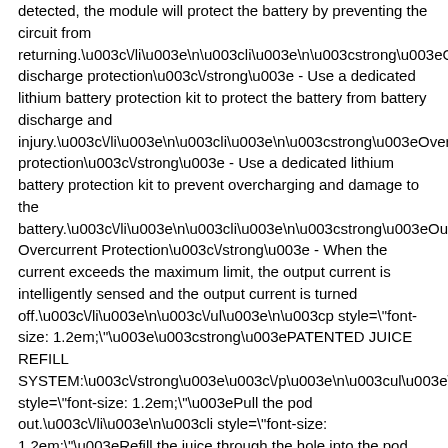detected, the module will protect the battery by preventing the circuit from returning.\u003c\/li\u003e\n\u003cli\u003e\n\u003cstrong\u003eOverdischarge protection\u003c\/strong\u003e - Use a dedicated lithium battery protection kit to protect the battery from battery discharge and injury.\u003c\/li\u003e\n\u003cli\u003e\n\u003cstrong\u003eOvercharge protection\u003c\/strong\u003e - Use a dedicated lithium battery protection kit to prevent overcharging and damage to the battery.\u003c\/li\u003e\n\u003cli\u003e\n\u003cstrong\u003eOutput Overcurrent Protection\u003c\/strong\u003e - When the current exceeds the maximum limit, the output current is intelligently sensed and the output current is turned off.\u003c\/li\u003e\n\u003c\/ul\u003e\n\u003cp style=\"font-size: 1.2em;\"\u003e\u003cstrong\u003ePATENTED JUICE REFILL SYSTEM:\u003c\/strong\u003e\u003c\/p\u003e\n\u003cul\u003e\n\u003cli style=\"font-size: 1.2em;\"\u003ePull the pod out.\u003c\/li\u003e\n\u003cli style=\"font-size: 1.2em;\"\u003eRefill the juice through the hole into the pod with at least 2\/3 capacity.\u003c\/li\u003e\n\u003cli style=\"font-size: 1.2em;\"\u003ePut the pod in after waiting 5 minutes; available to use once the indicator light flashes.\u003c\/li\u003e\n\u003c\/ul\u003e\n\u003cp style=\"font-size: 1.2em;\"\u003e\u003cstrong\u003eTRICOLOR INDICATOR LIGHT\u003c\/strong\u003e\u003c\/p\u003e\n\u003cul